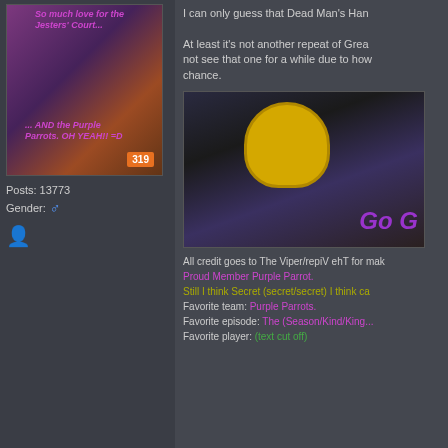[Figure (screenshot): Forum avatar image with purple/orange background and overlaid text about Jesters Court and Purple Parrots, with orange badge showing 319]
Posts: 13773
Gender: ♂
[Figure (photo): Small user icon/avatar]
I can only guess that Dead Man's Han...
At least it's not another repeat of Grea... not see that one for a while due to how... chance.
[Figure (screenshot): Video thumbnail showing person in yellow helmet with purple text 'Go G' overlay]
All credit goes to The Viper/repiV ehT for mak... Proud Member Purple Parrot. Still I think Secret (secret/secret) I think ca... Favorite team: Purple Parrots. Favorite episode: The (Season/Kind/King...). Favorite player: (text cut off).